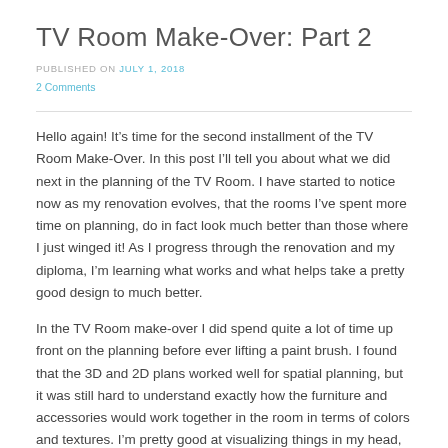TV Room Make-Over: Part 2
PUBLISHED ON July 1, 2018
2 Comments
Hello again! It’s time for the second installment of the TV Room Make-Over. In this post I’ll tell you about what we did next in the planning of the TV Room. I have started to notice now as my renovation evolves, that the rooms I’ve spent more time on planning, do in fact look much better than those where I just winged it! As I progress through the renovation and my diploma, I’m learning what works and what helps take a pretty good design to much better.
In the TV Room make-over I did spend quite a lot of time up front on the planning before ever lifting a paint brush. I found that the 3D and 2D plans worked well for spatial planning, but it was still hard to understand exactly how the furniture and accessories would work together in the room in terms of colors and textures. I’m pretty good at visualizing things in my head, but seeing it all on a piece of paper before purchasing any of it can really help to hone in on the right items and make it easier to get a